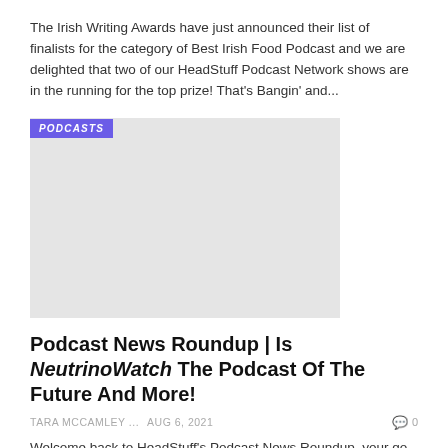The Irish Writing Awards have just announced their list of finalists for the category of Best Irish Food Podcast and we are delighted that two of our HeadStuff Podcast Network shows are in the running for the top prize! That's Bangin' and...
[Figure (photo): Image placeholder with PODCASTS tag label overlay in purple]
Podcast News Roundup | Is NeutrinoWatch The Podcast Of The Future And More!
TARA MCCAMLEY ...   Aug 6, 2021   0
Welcome back to HeadStuff's Podcast News Roundup, your go-to place for podcast news and recommendations. Let's take a look at some of the big stories making waves on the podcast scene. If you host a podcast and want it featured as our...
PODCASTS